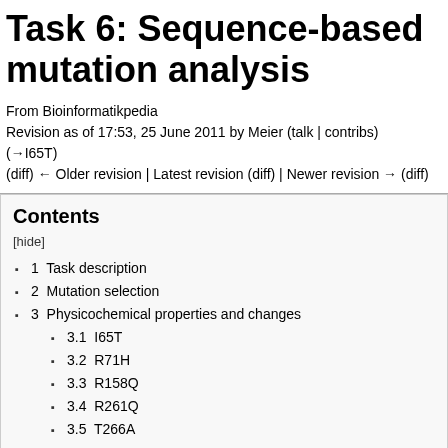Task 6: Sequence-based mutation analysis
From Bioinformatikpedia
Revision as of 17:53, 25 June 2011 by Meier (talk | contribs)
(→I65T)
(diff) ← Older revision | Latest revision (diff) | Newer revision → (diff)
Contents
[hide]
1  Task description
2  Mutation selection
3  Physicochemical properties and changes
3.1  I65T
3.2  R71H
3.3  R158Q
3.4  R261Q
3.5  T266A